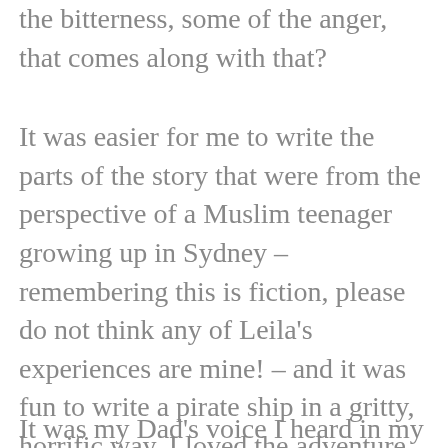the bitterness, some of the anger, that comes along with that?
It was easier for me to write the parts of the story that were from the perspective of a Muslim teenager growing up in Sydney – remembering this is fiction, please do not think any of Leila's experiences are mine! – and it was fun to write a pirate ship in a gritty, horrific way. I loved the adventure and I loved getting lost in the research. The story grew longer and longer, until it was no longer appropriate for Sprawl. But what about the main challenge? What about finding Avi's voice?
It was my Dad's voice I heard in my